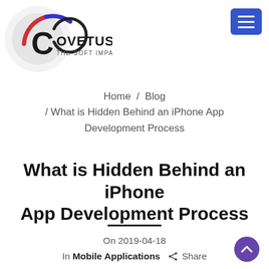[Figure (logo): Covetus - The Soft Impact logo with circular graphic and text]
Home / Blog / What is Hidden Behind an iPhone App Development Process
What is Hidden Behind an iPhone App Development Process
On 2019-04-18
In Mobile Applications  Share